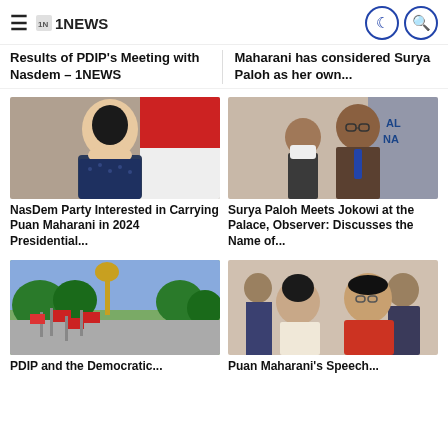1NEWS
Results of PDIP's Meeting with Nasdem – 1NEWS
Maharani has considered Surya Paloh as her own...
[Figure (photo): Photo of a woman (Puan Maharani) in a blue patterned outfit against a red and white background]
NasDem Party Interested in Carrying Puan Maharani in 2024 Presidential...
[Figure (photo): Photo of Surya Paloh with a person in a mask in the background]
Surya Paloh Meets Jokowi at the Palace, Observer: Discusses the Name of...
[Figure (photo): Photo of red and white flags with a Garuda statue in an outdoor setting]
PDIP and the Democratic...
[Figure (photo): Photo of two women, one in traditional dress with an older woman in red]
Puan Maharani's Speech...